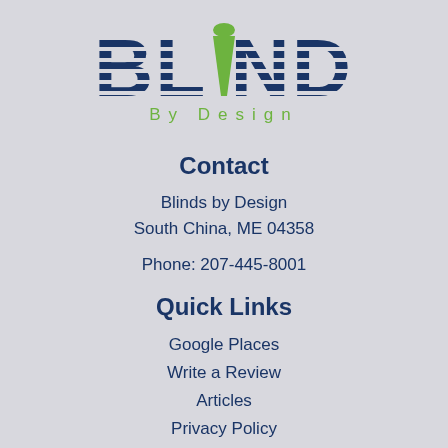[Figure (logo): Blinds By Design logo with striped dark blue text and green tassel/cone icon replacing the letter I]
Contact
Blinds by Design
South China, ME 04358
Phone: 207-445-8001
Quick Links
Google Places
Write a Review
Articles
Privacy Policy
Terms of Use